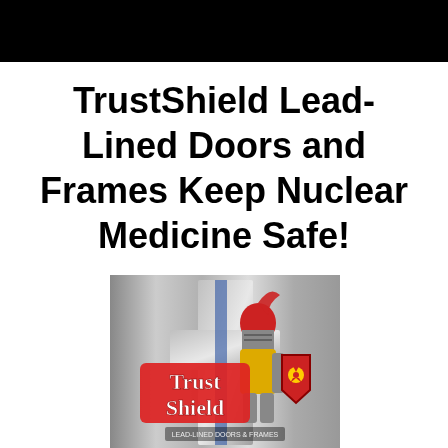[Figure (other): Black rectangular banner at the top of the page]
TrustShield Lead-Lined Doors and Frames Keep Nuclear Medicine Safe!
[Figure (logo): TrustShield logo featuring a medieval knight in red and yellow armor holding a shield with a radiation symbol, standing in front of a large silver door/cross shape, with the text 'Trust Shield' and 'Lead-Lined Doors & Frames' on a brushed metal background]